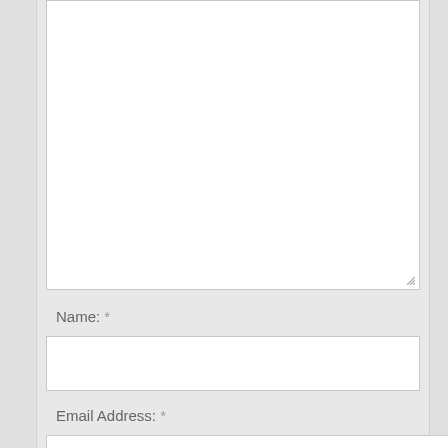[Figure (screenshot): A web form textarea (comment box) with a resize handle in the bottom-right corner, shown with a white background and light gray border]
Name: *
[Figure (screenshot): A web form input field for Name, white background with light gray border]
Email Address: *
[Figure (screenshot): A web form input field for Email Address, white background with light gray border, narrower than full width]
Website:
[Figure (screenshot): A web form input field for Website, white background with light gray border]
[Figure (screenshot): A checkbox (unchecked)]
Save my name, email, and website in this browser for the